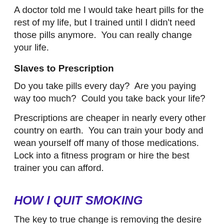A doctor told me I would take heart pills for the rest of my life, but I trained until I didn't need those pills anymore.  You can really change your life.
Slaves to Prescription
Do you take pills every day?  Are you paying way too much?  Could you take back your life?
Prescriptions are cheaper in nearly every other country on earth.  You can train your body and wean yourself off many of those medications.  Lock into a fitness program or hire the best trainer you can afford.
HOW I QUIT SMOKING
The key to true change is removing the desire